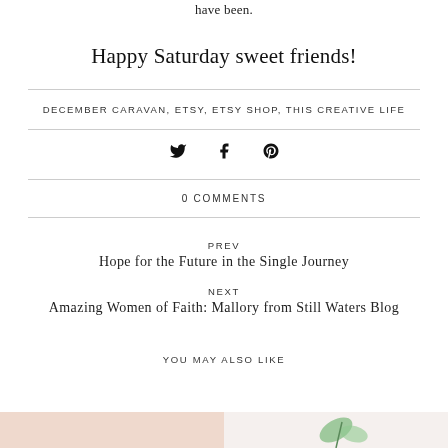have been.
Happy Saturday sweet friends!
DECEMBER CARAVAN, ETSY, ETSY SHOP, THIS CREATIVE LIFE
0 COMMENTS
PREV
Hope for the Future in the Single Journey
NEXT
Amazing Women of Faith: Mallory from Still Waters Blog
YOU MAY ALSO LIKE
[Figure (photo): Bottom strip with partial thumbnail images]